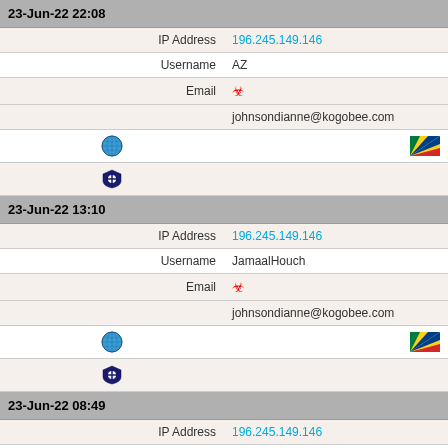| 23-Jun-22 22:08 |  |
| IP Address | 196.245.149.146 |
| Username | AZ |
| Email | [biohazard] johnsondianne@kogobee.com |
| [globe] | [flag: Seychelles] |
| [shield] |  |
| 23-Jun-22 13:10 |  |
| IP Address | 196.245.149.146 |
| Username | JamaalHouch |
| Email | [biohazard] johnsondianne@kogobee.com |
| [globe] | [flag: Seychelles] |
| [shield] |  |
| 23-Jun-22 08:49 |  |
| IP Address | 196.245.149.146 |
| Username | MildredHos |
| Email | [biohazard] katrinaeudolf@nartcafe.com |